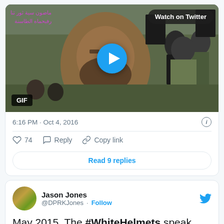[Figure (screenshot): Twitter/X embedded video thumbnail showing a crowd scene with a man in the foreground, Arabic text overlay top-left, 'Watch on Twitter' badge top-right, play button in center, and GIF badge bottom-left. Timestamp: 6:16 PM · Oct 4, 2016. Actions: 74 likes, Reply, Copy link. Read 9 replies button.]
[Figure (screenshot): Second tweet card showing Jason Jones (@DPRKJones) Twitter profile with Follow link and blue Twitter bird icon. Beginning of tweet text: 'May 2015. The #WhiteHelmets speak']